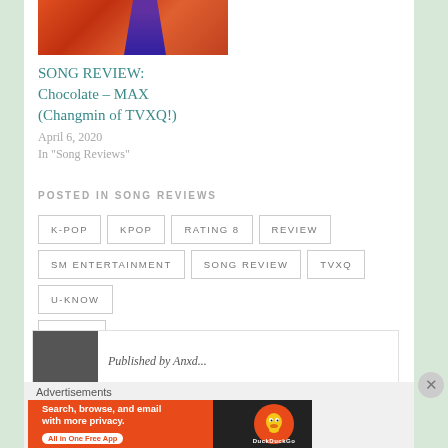[Figure (photo): Thumbnail image for song review post showing a figure in purple clothing against an orange/red background]
SONG REVIEW: Chocolate – MAX (Changmin of TVXQ!)
April 6, 2020
In "Song Reviews"
POSTED IN SONG REVIEWS
K-POP
KPOP
RATING 8
REVIEW
SM ENTERTAINMENT
SONG REVIEW
TVXQ
U-KNOW
YUNHO
[Figure (photo): Related post thumbnail showing a face close-up]
Published by Anxd...
Advertisements
[Figure (screenshot): DuckDuckGo advertisement: Search, browse, and email with more privacy. All in One Free App]